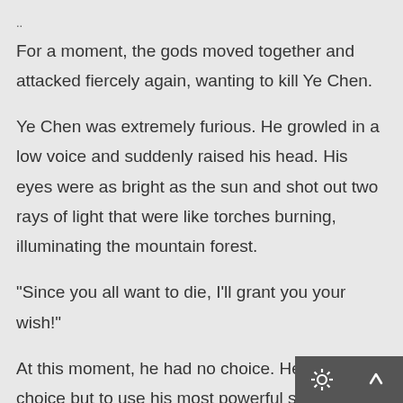..
For a moment, the gods moved together and attacked fiercely again, wanting to kill Ye Chen.
Ye Chen was extremely furious. He growled in a low voice and suddenly raised his head. His eyes were as bright as the sun and shot out two rays of light that were like torches burning, illuminating the mountain forest.
“Since you all want to die, I’ll grant you your wish!”
At this moment, he had no choice. He had no choice but to use his most powerful strength. In an instant, all